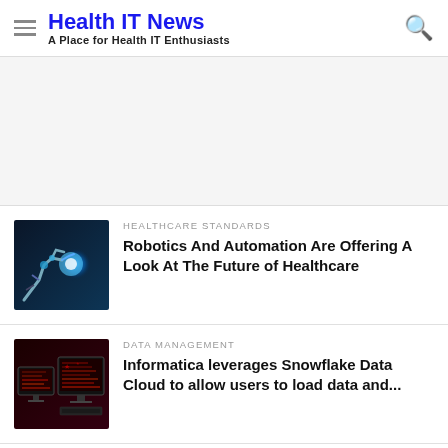Health IT News — A Place for Health IT Enthusiasts
[Figure (other): Advertisement / blank area placeholder]
[Figure (photo): Robotic arm with glowing blue orb, futuristic healthcare robotics image]
HEALTHCARE STANDARDS
Robotics And Automation Are Offering A Look At The Future of Healthcare
[Figure (photo): Computer monitors showing red data visualizations and code on dark background]
DATA MANAGEMENT
Informatica leverages Snowflake Data Cloud to allow users to load data and...